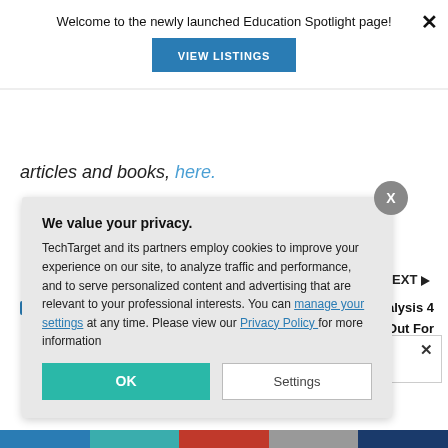Welcome to the newly launched Education Spotlight page!
[Figure (screenshot): Blue 'VIEW LISTINGS' button]
articles and books, here.
Machine Learning
NEXT ▶
on Data Analysis 4
s to Watch Out For
SC Members
We value your privacy. TechTarget and its partners employ cookies to improve your experience on our site, to analyze traffic and performance, and to serve personalized content and advertising that are relevant to your professional interests. You can manage your settings at any time. Please view our Privacy Policy for more information
OK
Settings